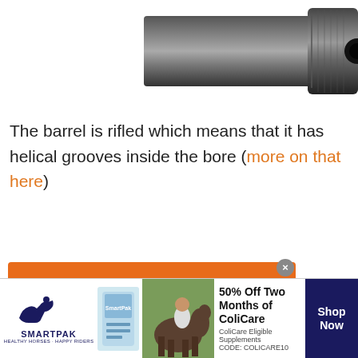[Figure (photo): Close-up photo of a black rifled gun barrel end, showing the circular bore opening and cylindrical metal construction, positioned in upper right area of page.]
The barrel is rifled which means that it has helical grooves inside the bore (more on that here)
[Figure (other): Direct Relief advertisement banner with orange background showing logo and text: Help send medical aid to Ukraine >>]
[Figure (other): SmartPak advertisement banner at bottom showing horse supplement product, horse and rider photo, and offer: 50% Off Two Months of ColiCare, ColiCare Eligible Supplements, CODE: COLICARE10, with Shop Now button]